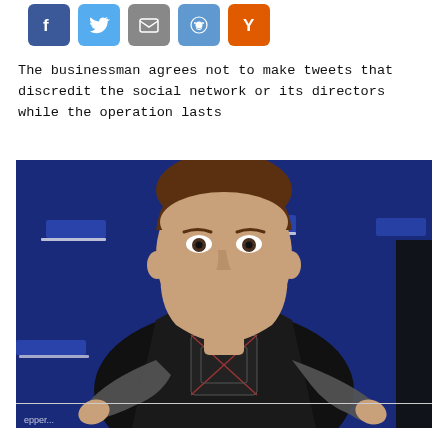[Figure (other): Social media sharing icon buttons: Facebook (blue), Twitter (light blue), Email (gray), Reddit (blue), Hacker News / Y Combinator (orange)]
The businessman agrees not to make tweets that discredit the social network or its directors while the operation lasts
[Figure (photo): Photo of Elon Musk in a black leather jacket with a graphic t-shirt, giving a thumbs-up gesture with both hands in front of a blue starry backdrop with repeated text logos.]